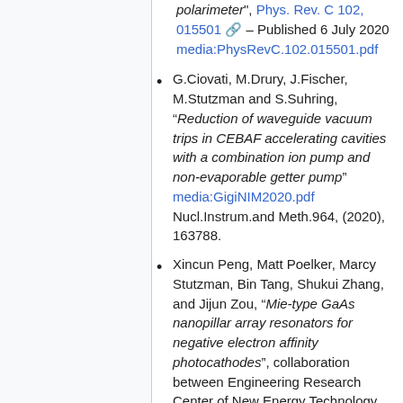polarimeter", Phys. Rev. C 102, 015501 – Published 6 July 2020 media:PhysRevC.102.015501.pdf
G.Ciovati, M.Drury, J.Fischer, M.Stutzman and S.Suhring, "Reduction of waveguide vacuum trips in CEBAF accelerating cavities with a combination ion pump and non-evaporable getter pump" media:GigiNIM2020.pdf Nucl.Instrum.and Meth.964, (2020), 163788.
Xincun Peng, Matt Poelker, Marcy Stutzman, Bin Tang, Shukui Zhang, and Jijun Zou, "Mie-type GaAs nanopillar array resonators for negative electron affinity photocathodes", collaboration between Engineering Research Center of New Energy Technology of